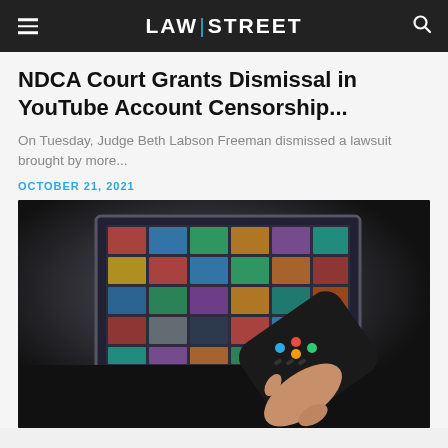LAW|STREET
NDCA Court Grants Dismissal in YouTube Account Censorship...
On Tuesday, Judge Beth Labson Freeman dismissed a lawsuit brought by more...
OCTOBER 21, 2021
[Figure (photo): A hand holding a TV remote control pointing at a blurred television screen displaying a colorful grid of thumbnails/channels, photographed in a dark room with dramatic lighting.]